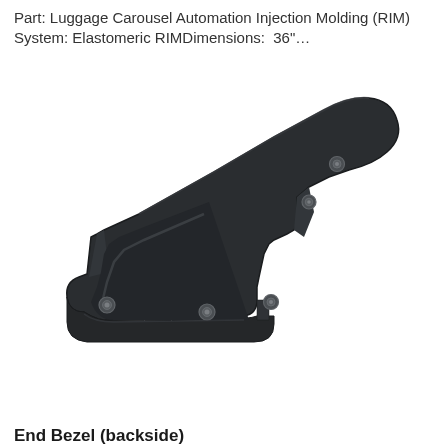Part: Luggage Carousel Automation Injection Molding (RIM) System: Elastomeric RIMDimensions:  36"…
[Figure (photo): Black elastomeric RIM molded luggage carousel end bezel part, backside view, showing a dark charcoal/black angular bracket-shaped component with multiple mounting bolt points, photographed against a white background.]
End Bezel (backside)